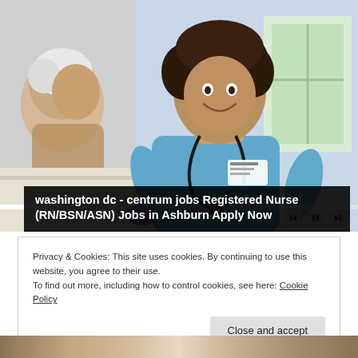[Figure (photo): A smiling nurse in blue scrubs with a stethoscope interacting with an elderly patient]
washington dc - centrum jobs Registered Nurse (RN/BSN/ASN) Jobs in Ashburn Apply Now
Privacy & Cookies: This site uses cookies. By continuing to use this website, you agree to their use.
To find out more, including how to control cookies, see here: Cookie Policy
Close and accept
[Figure (photo): Bottom strip showing partial image]